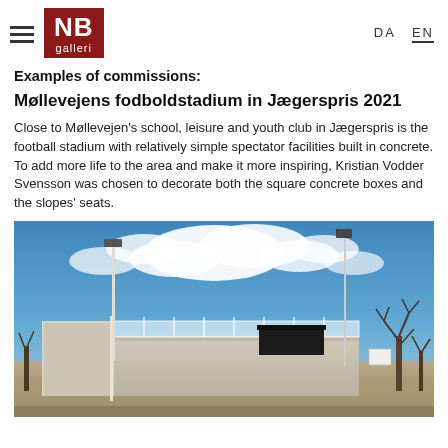NB galleri — DA EN
Examples of commissions:
Møllevejens fodboldstadium in Jægerspris 2021
Close to Møllevejen's school, leisure and youth club in Jægerspris is the football stadium with relatively simple spectator facilities built in concrete.
To add more life to the area and make it more inspiring, Kristian Vodder Svensson was chosen to decorate both the square concrete boxes and the slopes' seats.
[Figure (photo): Outdoor photograph of the Møllevejens football stadium in Jægerspris. Shows a concrete structure with white fence railings on top, floodlight poles, a dark shed/shelter, trees on the right side, and a blue sky with white clouds above. The foreground shows sandy/dirt ground.]